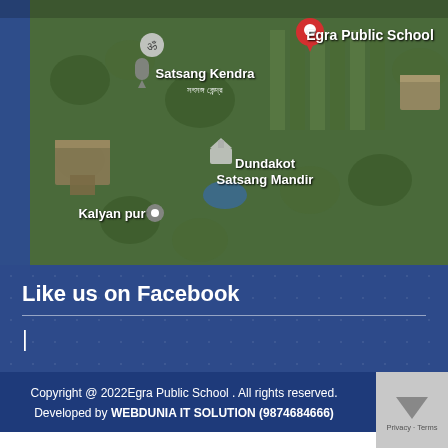[Figure (map): Google Maps satellite view showing Egra Public School location with red pin marker, Satsang Kendra, Dundakot Satsang Mandir, and Kalyan pur labels visible on aerial/satellite imagery of a green wooded area with buildings]
Like us on Facebook
|
Copyright @ 2022Egra Public School . All rights reserved.
Developed by WEBDUNIA IT SOLUTION (9874684666)